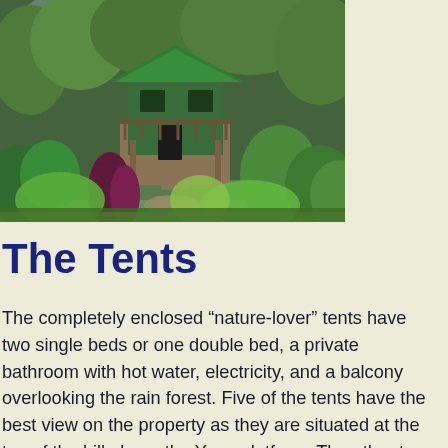[Figure (photo): A green-roofed cabin or tent structure elevated on stilts, surrounded by lush tropical rainforest vegetation with a wooden stairway leading up to it. Viewed from a garden path with tropical plants in the foreground.]
The Tents
The completely enclosed “nature-lover” tents have two single beds or one double bed, a private bathroom with hot water, electricity, and a balcony overlooking the rain forest. Five of the tents have the best view on the property as they are situated at the top of the hill above the Yoga platform. The other two tents are conveniently located near to the restaurant